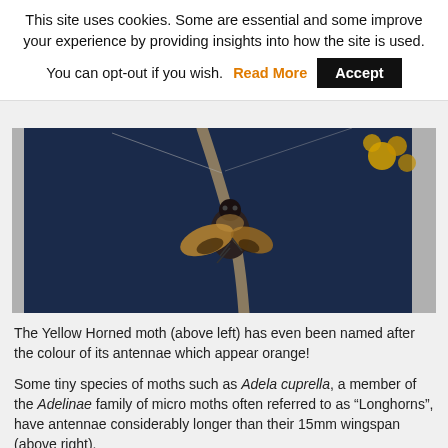This site uses cookies. Some are essential and some improve your experience by providing insights into how the site is used.
You can opt-out if you wish. Read More  Accept
[Figure (photo): Close-up photo of a moth clinging to a thin branch or twig against a dark blue background, with yellow flowers visible in the upper right corner. The moth has golden/brown wings with dark markings.]
The Yellow Horned moth (above left) has even been named after the colour of its antennae which appear orange!
Some tiny species of moths such as Adela cuprella, a member of the Adelinae family of micro moths often referred to as "Longhorns", have antennae considerably longer than their 15mm wingspan (above right).
Legs, eyes and tongues